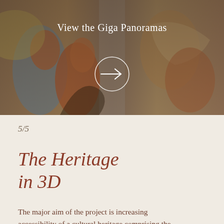[Figure (photo): Background image of a fresco or mural artwork showing figures with flowing robes in earthy tones (orange, red, blue, yellow). The image is darkened with an overlay. Text 'View the Giga Panoramas' appears over the image, and a white right-pointing arrow is shown in the center.]
View the Giga Panoramas
5/5
The Heritage in 3D
The major aim of the project is increasing accessibility of a cultural heritage comprising the